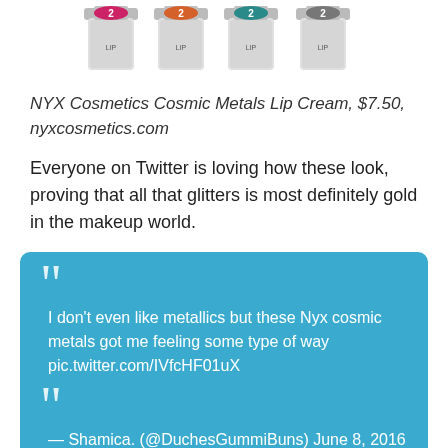[Figure (photo): Four NYX Cosmetics Cosmic Metals Lip Cream bottles in pink, orange, teal, and silver metallic colors, photographed from above showing their caps and labels.]
NYX Cosmetics Cosmic Metals Lip Cream, $7.50, nyxcosmetics.com
Everyone on Twitter is loving how these look, proving that all that glitters is most definitely gold in the makeup world.
I don't even like metallics but these Nyx cosmic metals got me feeling some type of way pic.twitter.com/IVfcHF01uX
— Shamica. (@DuchesGummiBuns) June 8, 2016